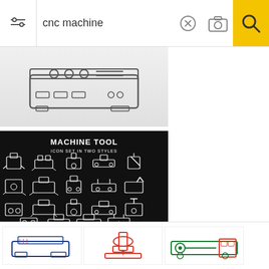[Figure (screenshot): Search bar UI with filter icon, text input showing 'cnc machine', clear button, camera button, and yellow search button]
[Figure (illustration): CNC machine outline icon on light gray gradient background]
[Figure (illustration): Machine Tool icon set in two styles on black background with white icons of various machine tools]
[Figure (illustration): CNC machine illustration with red ovals showing drill bits and cutting tools on left, and colorful CNC machining center on right with beige background]
[Figure (illustration): Row of three small thumbnail icons: CNC machine, drilling machine, and horizontal machining tool]